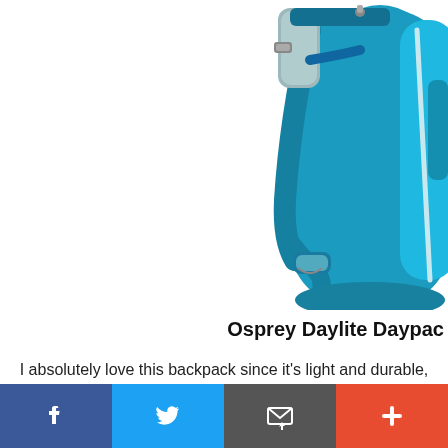[Figure (photo): Photo of a teal/blue Osprey Daylite Daypack backpack, showing the shoulder strap, back panel mesh, and lower sternum strap clip against a white background. Only the right half of the pack is visible.]
Osprey Daylite Daypac
I absolutely love this backpack since it's light and durable, size so it fits a decent amount of stuff but doesn't look
[Figure (infographic): Social sharing bar with four buttons: Facebook (blue, f icon), Twitter (light blue, bird icon), Email (dark gray, envelope icon), More (orange-red, plus icon)]